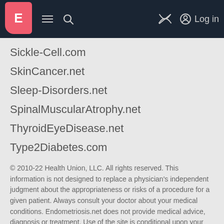E [logo] ≡ 🔍 [eye-slash] [user] Log in
Sickle-Cell.com
SkinCancer.net
Sleep-Disorders.net
SpinalMuscularAtrophy.net
ThyroidEyeDisease.net
Type2Diabetes.com
© 2010-22 Health Union, LLC. All rights reserved. This information is not designed to replace a physician's independent judgment about the appropriateness or risks of a procedure for a given patient. Always consult your doctor about your medical conditions. Endometriosis.net does not provide medical advice, diagnosis or treatment. Use of the site is conditional upon your acceptance of our terms of use.
This site is protected by reCAPTCHA and the Google Privacy